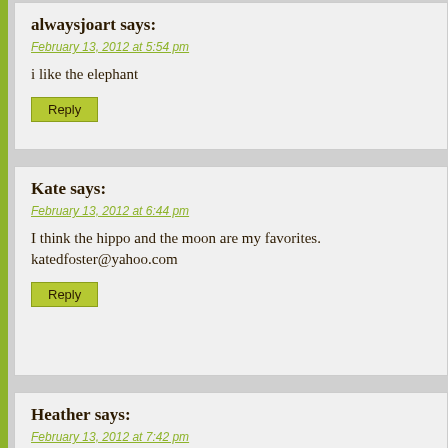alwaysjoart says:
February 13, 2012 at 5:54 pm
i like the elephant
Reply
Kate says:
February 13, 2012 at 6:44 pm
I think the hippo and the moon are my favorites.
katedfoster@yahoo.com
Reply
Heather says:
February 13, 2012 at 7:42 pm
moon, or elephant.
Blue Racer
freefluff@gmail.com